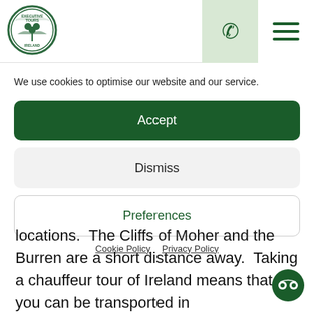[Figure (logo): Executive Tours circular logo with shamrock and eagle motif in green and white]
We use cookies to optimise our website and our service.
Accept
Dismiss
Preferences
Cookie Policy  Privacy Policy
locations.  The Cliffs of Moher and the Burren are a short distance away.  Taking a chauffeur tour of Ireland means that you can be transported in